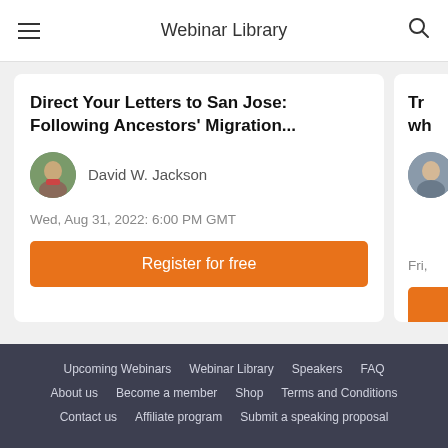Webinar Library
Direct Your Letters to San Jose: Following Ancestors' Migration...
David W. Jackson
Wed, Aug 31, 2022: 6:00 PM GMT
Register for free
Tr... wh... Fri,...
Upcoming Webinars  Webinar Library  Speakers  FAQ  About us  Become a member  Shop  Terms and Conditions  Contact us  Affiliate program  Submit a speaking proposal